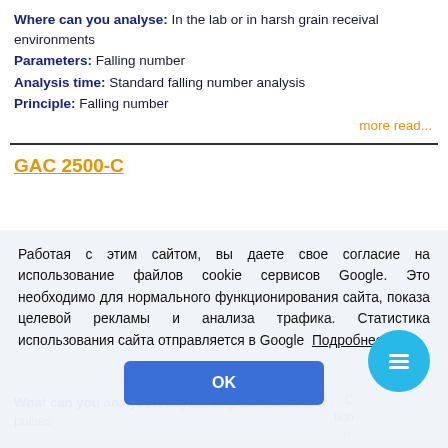Where can you analyse: In the lab or in harsh grain receival environments
Parameters: Falling number
Analysis time: Standard falling number analysis
Principle: Falling number
more read...
GAC 2500-C
Работая с этим сайтом, вы даете свое согласие на использование файлов cookie сервисов Google. Это необходимо для нормального функционирования сайта, показа целевой рекламы и анализа трафика. Статистика использования сайта отправляется в Google  Подробнее
OK
What can you analyse: All types of grain, beans and pulses